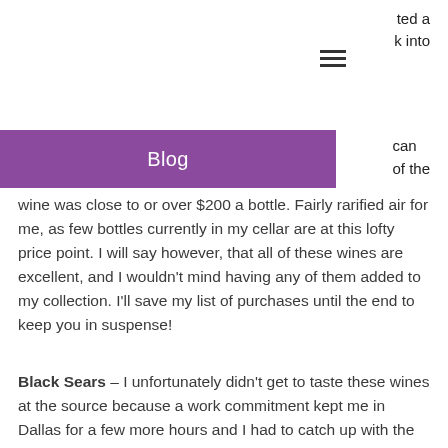ted a
k into
Blog
can
of the wine was close to or over $200 a bottle. Fairly rarified air for me, as few bottles currently in my cellar are at this lofty price point. I will say however, that all of these wines are excellent, and I wouldn't mind having any of them added to my collection. I'll save my list of purchases until the end to keep you in suspense!
Black Sears – I unfortunately didn't get to taste these wines at the source because a work commitment kept me in Dallas for a few more hours and I had to catch up with the rest of my party at the second stop. The